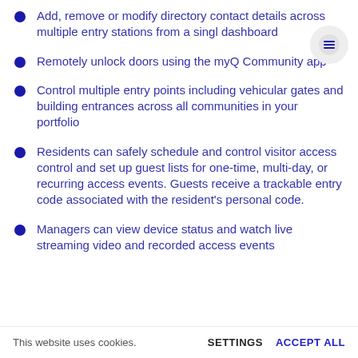Add, remove or modify directory contact details across multiple entry stations from a single dashboard
Remotely unlock doors using the myQ Community app
Control multiple entry points including vehicular gates and building entrances across all communities in your portfolio
Residents can safely schedule and control visitor access control and set up guest lists for one-time, multi-day, or recurring access events. Guests receive a trackable entry code associated with the resident's personal code.
Managers can view device status and watch live streaming video and recorded access events
This website uses cookies.   SETTINGS   ACCEPT ALL